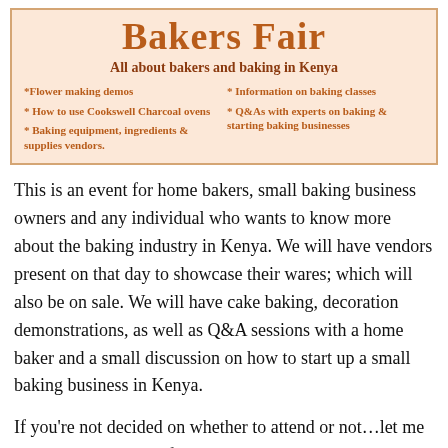[Figure (infographic): Bakers Fair banner with peach/salmon background, orange bold title 'Bakers Fair', subtitle 'All about bakers and baking in Kenya', and bullet list items about event features.]
This is an event for home bakers, small baking business owners and any individual who wants to know more about the baking industry in Kenya. We will have vendors present on that day to showcase their wares; which will also be on sale. We will have cake baking, decoration demonstrations, as well as Q&A sessions with a home baker and a small discussion on how to start up a small baking business in Kenya.
If you're not decided on whether to attend or not…let me share with you just a few reasons why you must not miss